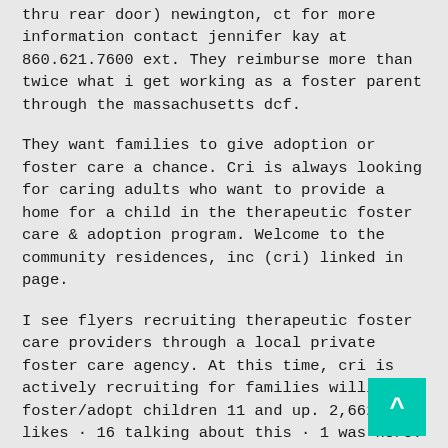thru rear door) newington, ct for more information contact jennifer kay at 860.621.7600 ext. They reimburse more than twice what i get working as a foster parent through the massachusetts dcf.
They want families to give adoption or foster care a chance. Cri is always looking for caring adults who want to provide a home for a child in the therapeutic foster care & adoption program. Welcome to the community residences, inc (cri) linked in page.
I see flyers recruiting therapeutic foster care providers through a local private foster care agency. At this time, cri is actively recruiting for families willing to foster/adopt children 11 and up. 2,662 likes · 16 talking about this · 1 was here.
How to address america's foster care crisis? This is a "drop by" [...] For all other information relating to foster care, please contact:
The next wave of the evangelical adoption movement will rely